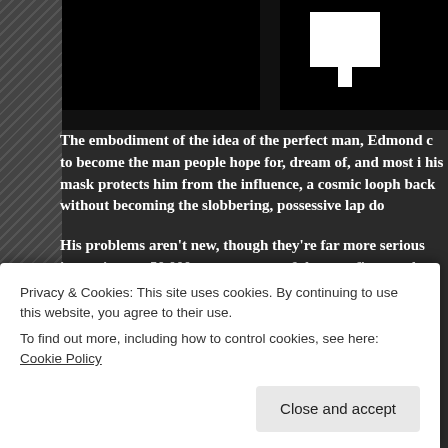[Figure (screenshot): Dark webpage screenshot showing black header area with white logo mark (resembling letter M or similar brand icon) on the right side.]
The embodiment of the idea of the perfect man, Edmond c to become the man people hope for, dream of, and most i his mask protects him from the influence, a cosmic looph back without becoming the slobbering, possessive lap do
His problems aren't new, though they're far more serious into existence 50,000 years ago out of the very first symb dissatisfied with her husband's pathetic hunting abilities herself—he's struggled to keep his own identity ever sinc
Finding himself at many of history's most memorable eve wheel, the sacking of Troy, the Third Crusade, The Frenc
Privacy & Cookies: This site uses cookies. By continuing to use this website, you agree to their use.
To find out more, including how to control cookies, see here: Cookie Policy
Close and accept